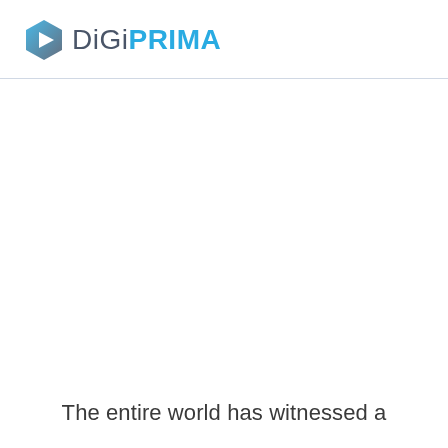DiGiPRIMA
The entire world has witnessed a